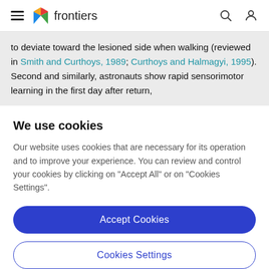frontiers
to deviate toward the lesioned side when walking (reviewed in Smith and Curthoys, 1989; Curthoys and Halmagyi, 1995). Second and similarly, astronauts show rapid sensorimotor learning in the first day after return,
We use cookies
Our website uses cookies that are necessary for its operation and to improve your experience. You can review and control your cookies by clicking on "Accept All" or on "Cookies Settings".
Accept Cookies
Cookies Settings